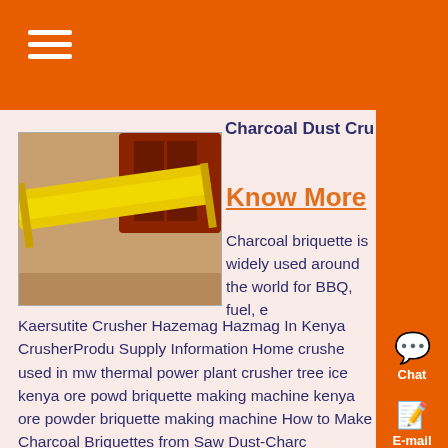Charcoal Dust Crusher In Kenya
Know More
[Figure (photo): Industrial yellow conveyor/vibrating screen machine outdoors with red equipment in background]
Charcoal briquette is widely used around the world for BBQ, fuel, e Kaersutite Crusher Hazemag Hazmag In Kenya CrusherProdu Supply Information Home crusher used in mw thermal power plant crusher tree ice kenya ore powder briquette making machine kenya ore powder briquette making machine How to Make Charcoal Briquettes from Saw Dust-Charc Briquette...